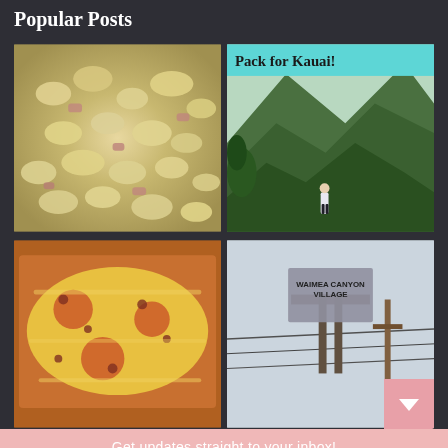Popular Posts
[Figure (photo): Close-up photo of macaroni salad with ham pieces]
[Figure (photo): Travel photo of Kauai mountains with woman standing on trail, cyan banner reading 'Pack for Kauai!']
[Figure (photo): Photo of pizza or lasagna in a baking pan with cheese and meat]
[Figure (photo): Photo of Waimea Canyon Village sign with power lines and pink scroll arrow overlay]
Get updates straight to your inbox!
Your email address..
SUBSCRIBE AND CONSENT